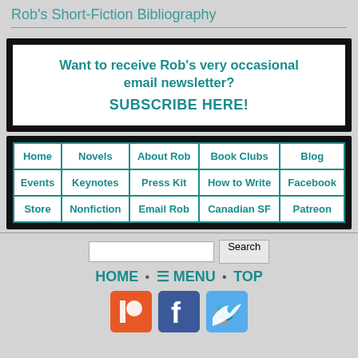Rob's Short-Fiction Bibliography
Want to receive Rob's very occasional email newsletter? SUBSCRIBE HERE!
| Home | Novels | About Rob | Book Clubs | Blog |
| --- | --- | --- | --- | --- |
| Events | Keynotes | Press Kit | How to Write | Facebook |
| Store | Nonfiction | Email Rob | Canadian SF | Patreon |
Search
HOME • ☰ MENU • TOP